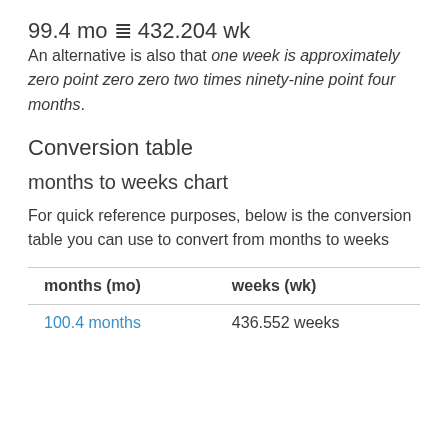An alternative is also that one week is approximately zero point zero zero two times ninety-nine point four months.
Conversion table
months to weeks chart
For quick reference purposes, below is the conversion table you can use to convert from months to weeks
| months (mo) | weeks (wk) |
| --- | --- |
| 100.4 months | 436.552 weeks |